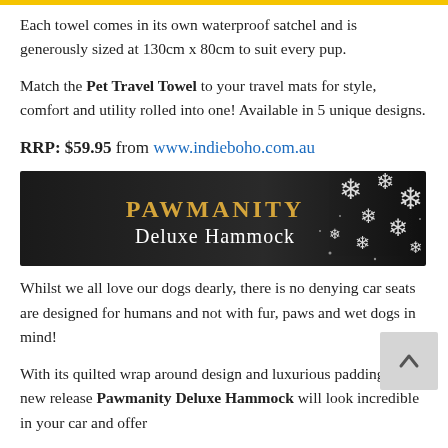Each towel comes in its own waterproof satchel and is generously sized at 130cm x 80cm to suit every pup.
Match the Pet Travel Towel to your travel mats for style, comfort and utility rolled into one! Available in 5 unique designs.
RRP: $59.95 from www.indieboho.com.au
[Figure (photo): Dark banner image with snowflake decorations showing text 'PAWMANITY Deluxe Hammock' in gold and white lettering on a black/dark grey background.]
Whilst we all love our dogs dearly, there is no denying car seats are designed for humans and not with fur, paws and wet dogs in mind!
With its quilted wrap around design and luxurious padding, this new release Pawmanity Deluxe Hammock will look incredible in your car and offer